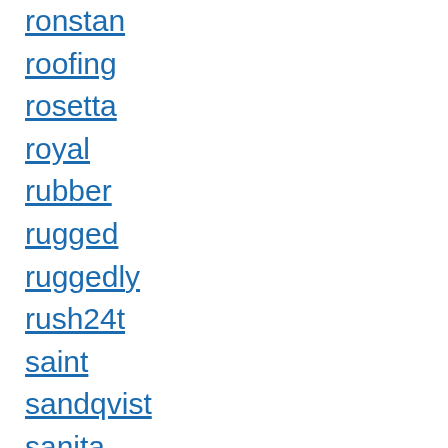ronstan
roofing
rosetta
royal
rubber
rugged
ruggedly
rush24t
saint
sandqvist
sanita
sanita'alison'
scotty
sealey
select
series
shades